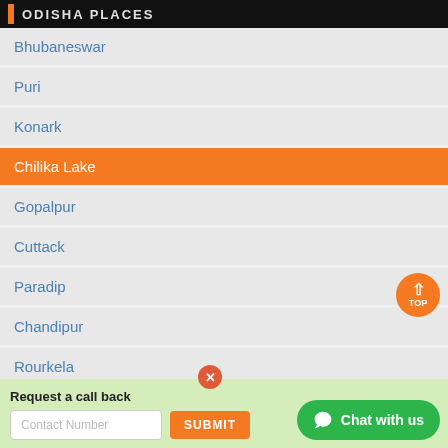ODISHA PLACES
Bhubaneswar
Puri
Konark
Chilika Lake
Gopalpur
Cuttack
Paradip
Chandipur
Rourkela
Daringibadi
Request a call back
Contact Number
SUBMIT
Chat with us